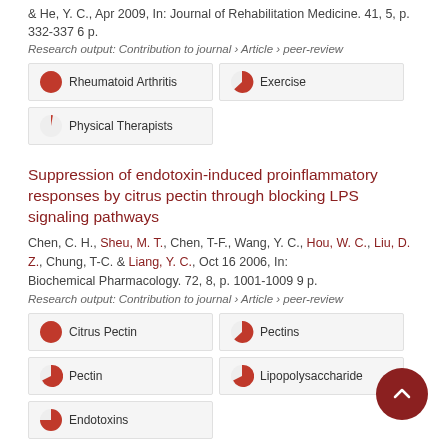& He, Y. C., Apr 2009, In: Journal of Rehabilitation Medicine. 41, 5, p. 332-337 6 p.
Research output: Contribution to journal › Article › peer-review
[Figure (other): Keyword badge: Rheumatoid Arthritis with ~100% filled red pie chart]
[Figure (other): Keyword badge: Exercise with ~75% filled red pie chart]
[Figure (other): Keyword badge: Physical Therapists with ~10% filled red pie chart]
Suppression of endotoxin-induced proinflammatory responses by citrus pectin through blocking LPS signaling pathways
Chen, C. H., Sheu, M. T., Chen, T-F., Wang, Y. C., Hou, W. C., Liu, D. Z., Chung, T-C. & Liang, Y. C., Oct 16 2006, In: Biochemical Pharmacology. 72, 8, p. 1001-1009 9 p.
Research output: Contribution to journal › Article › peer-review
[Figure (other): Keyword badge: Citrus Pectin with ~100% filled red pie chart]
[Figure (other): Keyword badge: Pectins with ~75% filled red pie chart]
[Figure (other): Keyword badge: Pectin with ~65% filled red pie chart]
[Figure (other): Keyword badge: Lipopolysaccharide with ~60% filled red pie chart]
[Figure (other): Keyword badge: Endotoxins with ~50% filled red pie chart]